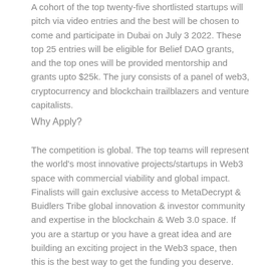A cohort of the top twenty-five shortlisted startups will pitch via video entries and the best will be chosen to come and participate in Dubai on July 3 2022. These top 25 entries will be eligible for Belief DAO grants, and the top ones will be provided mentorship and grants upto $25k. The jury consists of a panel of web3, cryptocurrency and blockchain trailblazers and venture capitalists.
Why Apply?
The competition is global. The top teams will represent the world's most innovative projects/startups in Web3 space with commercial viability and global impact. Finalists will gain exclusive access to MetaDecrypt & Buidlers Tribe global innovation & investor community and expertise in the blockchain & Web 3.0 space. If you are a startup or you have a great idea and are building an exciting project in the Web3 space, then this is the best way to get the funding you deserve. Please fill in the application form 🟡app.buidlerstribe.com before June 24, 2022.